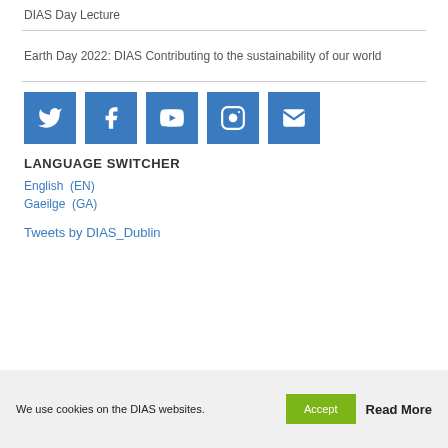DIAS Day Lecture
Earth Day 2022: DIAS Contributing to the sustainability of our world
[Figure (other): Social media icons: Twitter, Facebook, YouTube, Instagram, Email — blue square buttons]
LANGUAGE SWITCHER
English (EN)
Gaeilge (GA)
Tweets by DIAS_Dublin
We use cookies on the DIAS websites.  Accept  Read More